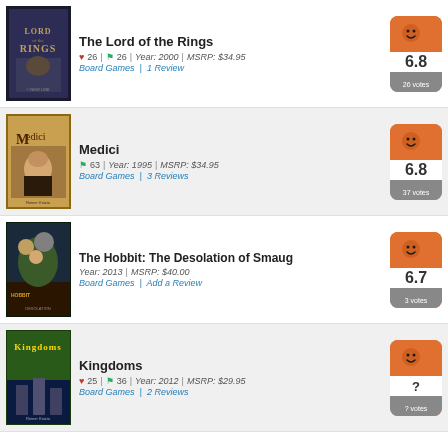The Lord of the Rings — ♥ 26 | 🏴 26 | Year: 2000 | MSRP: $34.95 — Board Games | 1 Review — Rating: 6.8, 26 votes
Medici — 🏴 63 | Year: 1995 | MSRP: $34.95 — Board Games | 3 Reviews — Rating: 6.8, 37 votes
The Hobbit: The Desolation of Smaug — Year: 2013 | MSRP: $40.00 — Board Games | Add a Review — Rating: 6.7, 3 votes
Kingdoms — ♥ 25 | 🏴 36 | Year: 2012 | MSRP: $29.95 — Board Games | 2 Reviews